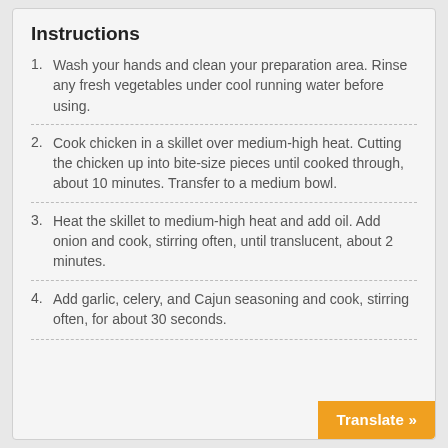Instructions
Wash your hands and clean your preparation area. Rinse any fresh vegetables under cool running water before using.
Cook chicken in a skillet over medium-high heat. Cutting the chicken up into bite-size pieces until cooked through, about 10 minutes. Transfer to a medium bowl.
Heat the skillet to medium-high heat and add oil. Add onion and cook, stirring often, until translucent, about 2 minutes.
Add garlic, celery, and Cajun seasoning and cook, stirring often, for about 30 seconds.